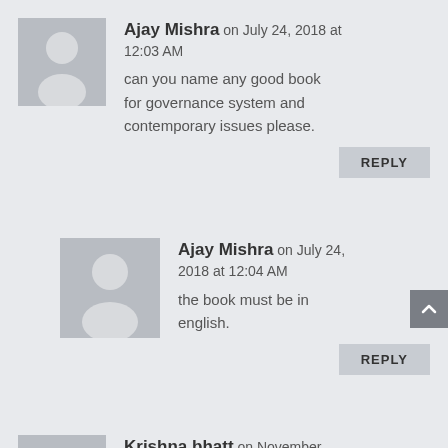Ajay Mishra on July 24, 2018 at 12:03 AM
can you name any good book for governance system and contemporary issues please.
REPLY
Ajay Mishra on July 24, 2018 at 12:04 AM
the book must be in english.
REPLY
Krishna bhatt on November 10, 2018 at 11:16 PM